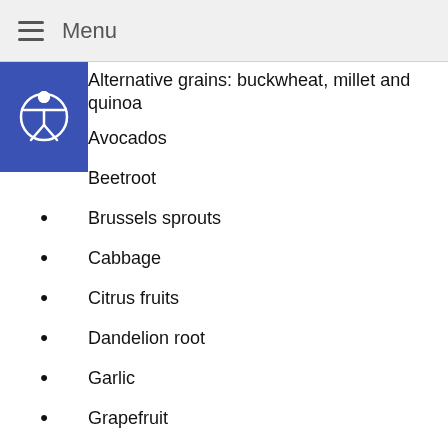Menu
Alternative grains: buckwheat, millet and quinoa
Avocados
Beetroot
Brussels sprouts
Cabbage
Citrus fruits
Dandelion root
Garlic
Grapefruit
Green tea
Olive oil
Spinach
Tomatoes
Turmeric